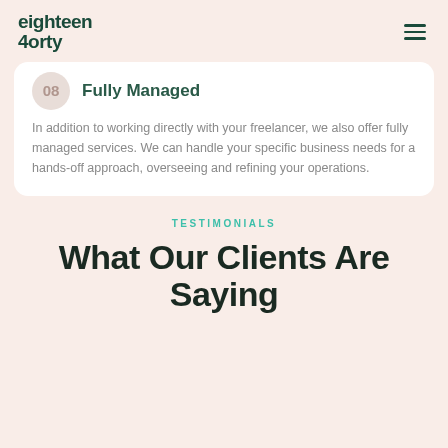eighteen 4orty
08 Fully Managed
In addition to working directly with your freelancer, we also offer fully managed services. We can handle your specific business needs for a hands-off approach, overseeing and refining your operations.
TESTIMONIALS
What Our Clients Are Saying